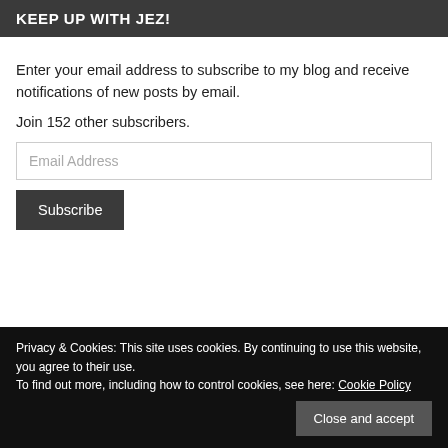KEEP UP WITH JEZ!
Enter your email address to subscribe to my blog and receive notifications of new posts by email.
Join 152 other subscribers.
Email Address
Subscribe
Privacy & Cookies: This site uses cookies. By continuing to use this website, you agree to their use.
To find out more, including how to control cookies, see here: Cookie Policy
Close and accept